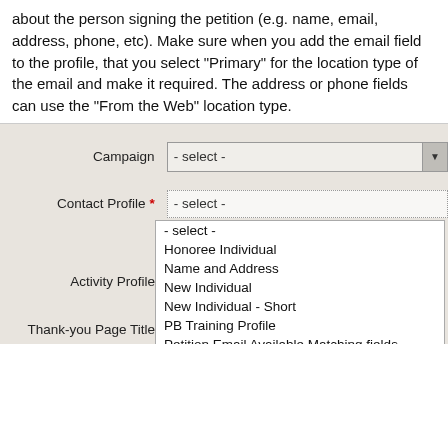about the person signing the petition (e.g. name, email, address, phone, etc). Make sure when you add the email field to the profile, that you select "Primary" for the location type of the email and make it required. The address or phone fields can use the "From the Web" location type.
[Figure (screenshot): A web form showing Campaign and Contact Profile fields with a dropdown list open for Contact Profile. The dropdown contains: - select -, Honoree Individual, Name and Address, New Individual, New Individual - Short, PB Training Profile, Petition Email Available Matching fields, Petition Email Contact Info (highlighted/selected), Quick Add Individual, Search Results: Donor Tracking, Search View: Current Employer, Search View: Individual Organizing Info, Search View: Name Address Constituent ty, Summary Overlay, Supporter Profile, and partially visible last item. Activity Profile and Thank-you Page Title and Thank-you Message labels are visible on the left.]